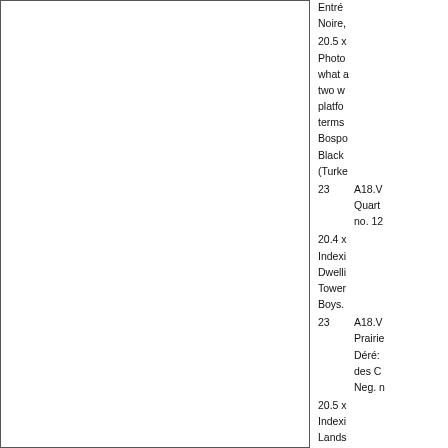[Figure (other): Empty white rectangle with border, left panel of document page]
Entrée de la Mer Noire,
20.5 x Photograph showing what appears to be two waterways or platforms. Terms: Bosporus, Black Sea (Turkey).
23   A18.V Quarterly no. 12
20.4 x Indexing: Dwelling, Tower, Boys.
23   A18.V Prairie, Déré: des C Neg. n
20.5 x Indexing: Landscape, History, Animals, Büyük (Turkey).